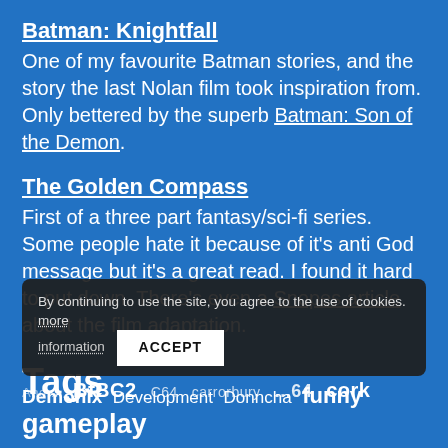Batman: Knightfall
One of my favourite Batman stories, and the story the last Nolan film took inspiration from. Only bettered by the superb Batman: Son of the Demon.
The Golden Compass
First of a three part fantasy/sci-fi series. Some people hate it because of it's anti God message but it's a great read. I found it hard to put down. There's even a Snopes article about the film adaptation.
Tags
By continuing to use the site, you agree to the use of cookies. more information  ACCEPT
And... BfBC2 C64 carrorbury ...64 cork
Demonix Development Donncha funny gameplay
Games General ...